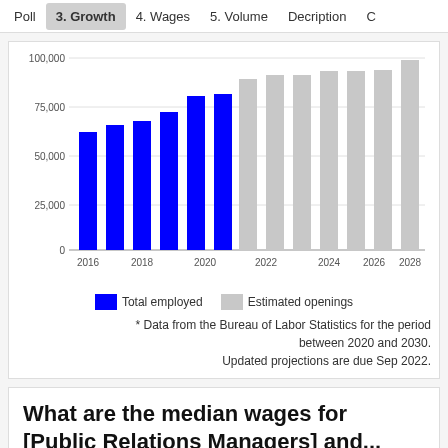Poll   3. Growth   4. Wages   5. Volume   Decription   C
[Figure (bar-chart): ]
* Data from the Bureau of Labor Statistics for the period between 2020 and 2030. Updated projections are due Sep 2022.
What are the median wages for [Public Relations Managers] and...